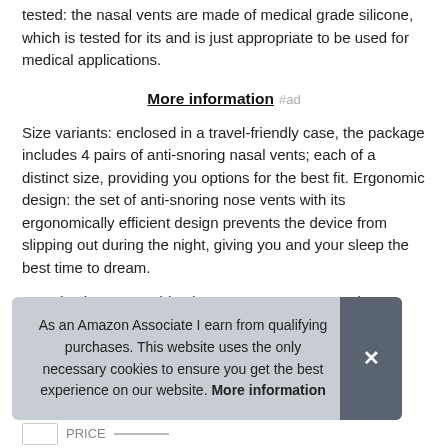tested: the nasal vents are made of medical grade silicone, which is tested for its and is just appropriate to be used for medical applications.
More information #ad
Size variants: enclosed in a travel-friendly case, the package includes 4 pairs of anti-snoring nasal vents; each of a distinct size, providing you options for the best fit. Ergonomic design: the set of anti-snoring nose vents with its ergonomically efficient design prevents the device from slipping out during the night, giving you and your sleep the best time to dream.
Long-lasting & reusable: the nose vents are not only reusable, but with
As an Amazon Associate I earn from qualifying purchases. This website uses the only necessary cookies to ensure you get the best experience on our website. More information